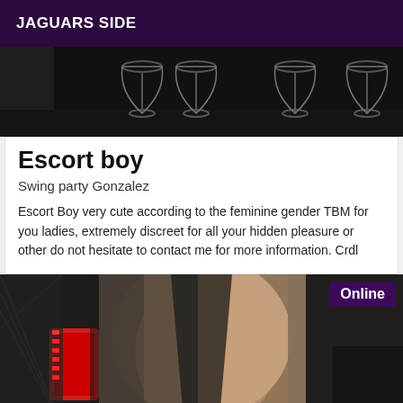JAGUARS SIDE
[Figure (photo): Black and white photo of wine glasses on a dark background]
Escort boy
Swing party Gonzalez
Escort Boy very cute according to the feminine gender TBM for you ladies, extremely discreet for all your hidden pleasure or other do not hesitate to contact me for more information. Crdl
[Figure (photo): Close-up photo of a person wearing a black latex/leather jacket with red accents and fishnet stockings, with an Online badge in the top right corner]